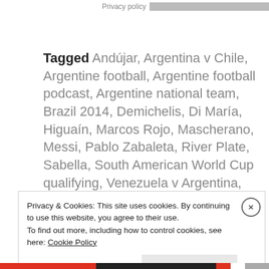Privacy policy
Tagged Andújar, Argentina v Chile, Argentine football, Argentine football podcast, Argentine national team, Brazil 2014, Demichelis, Di María, Higuaín, Marcos Rojo, Mascherano, Messi, Pablo Zabaleta, River Plate, Sabella, South American World Cup qualifying, Venezuela v Argentina, World Cup qualifying      Leave a comment
Privacy & Cookies: This site uses cookies. By continuing to use this website, you agree to their use.
To find out more, including how to control cookies, see here: Cookie Policy
Close and accept